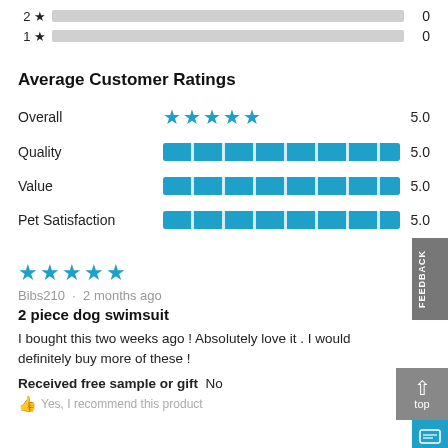[Figure (bar-chart): Star rating distribution (2★, 1★)]
Average Customer Ratings
| Category | Rating | Score |
| --- | --- | --- |
| Overall | ★★★★★ | 5.0 |
| Quality | [bar] | 5.0 |
| Value | [bar] | 5.0 |
| Pet Satisfaction | [bar] | 5.0 |
[Figure (other): 5-star review by Bibs210, 2 months ago]
Bibs210 · 2 months ago
2 piece dog swimsuit
I bought this two weeks ago ! Absolutely love it . I would definitely buy more of these !
Received free sample or gift  No